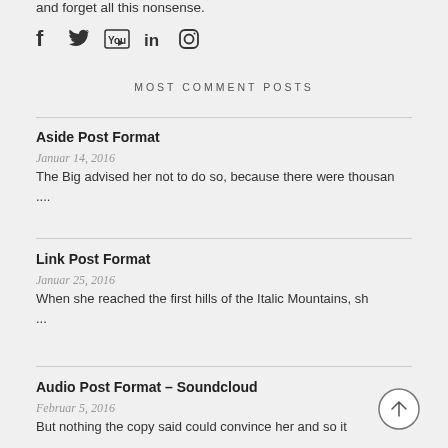and forget all this nonsense.
[Figure (other): Social media icons: Facebook, Twitter, YouTube, LinkedIn, Instagram]
MOST COMMENT POSTS
Aside Post Format
Januar 14, 2016
The Big advised her not to do so, because there were thousan ....
Link Post Format
Januar 25, 2016
When she reached the first hills of the Italic Mountains, sh ...
Audio Post Format – Soundcloud
Februar 5, 2016
But nothing the copy said could convince her and so it